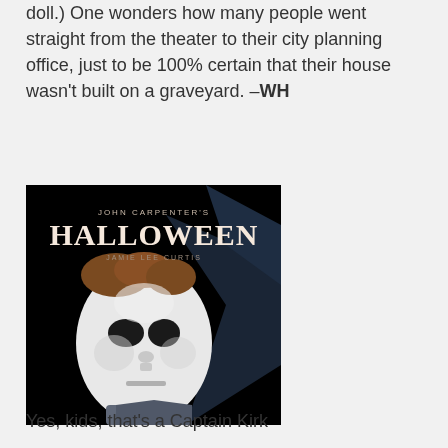doll.) One wonders how many people went straight from the theater to their city planning office, just to be 100% certain that their house wasn't built on a graveyard. –WH
[Figure (photo): Movie poster for John Carpenter's Halloween featuring Jamie Lee Curtis. Black background with a white Michael Myers mask and the title 'Halloween' in large serif letters. Text reads 'JOHN CARPENTER'S' at top and 'JAMIE LEE CURTIS' below the title.]
Yes, kids, that's a Captain Kirk